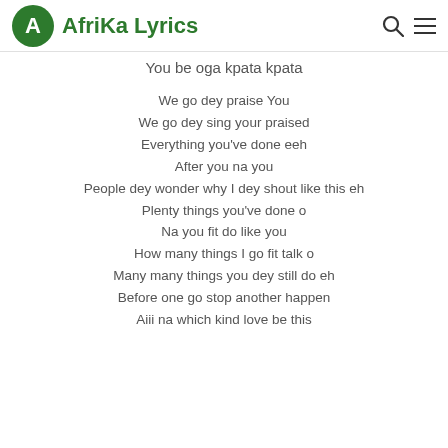Afrika Lyrics
You be oga kpata kpata

We go dey praise You
We go dey sing your praised
Everything you've done eeh
After you na you
People dey wonder why I dey shout like this eh
Plenty things you've done o
Na you fit do like you
How many things I go fit talk o
Many many things you dey still do eh
Before one go stop another happen
Aiii na which kind love be this